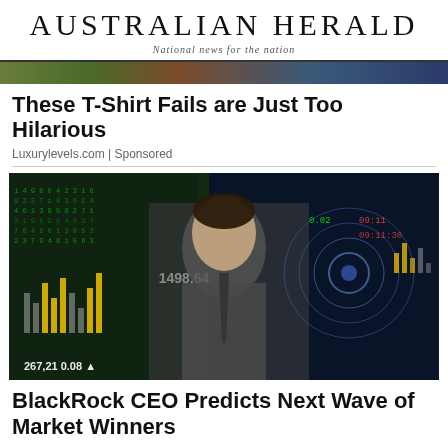Australian Herald
National news for the nation
These T-Shirt Fails are Just Too Hilarious
Luxurylevels.com | Sponsored
[Figure (photo): Man in grey suit presenting in front of financial market data screen with stock numbers including 1498,64 and 267,21 0.08]
BlackRock CEO Predicts Next Wave of Market Winners